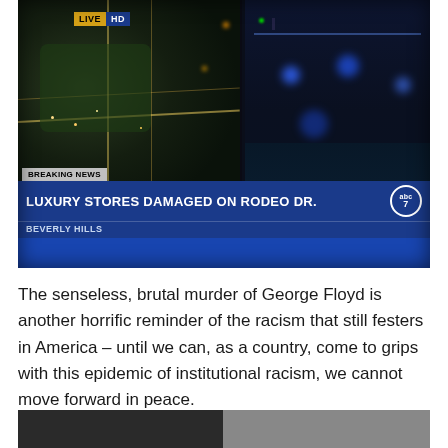[Figure (screenshot): TV screenshot of ABC7 breaking news broadcast showing aerial and street-level night footage with on-screen text: LIVE HD badge, BREAKING NEWS label, headline 'LUXURY STORES DAMAGED ON RODEO DR.' and sub-label 'BEVERLY HILLS']
The senseless, brutal murder of George Floyd is another horrific reminder of the racism that still festers in America – until we can, as a country, come to grips with this epidemic of institutional racism, we cannot move forward in peace.
[Figure (photo): Partial bottom image strip showing a dark scene, appears to be another news or protest photograph, only the top portion visible]